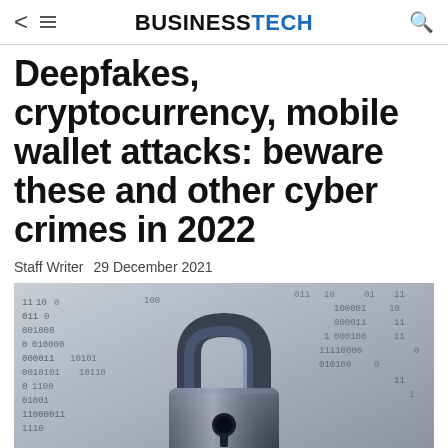BUSINESSTECH
Deepfakes, cryptocurrency, mobile wallet attacks: beware these and other cyber crimes in 2022
Staff Writer   29 December 2021
[Figure (photo): A metallic padlock resting on a surface covered with binary code (0s and 1s), representing cybersecurity and digital security threats.]